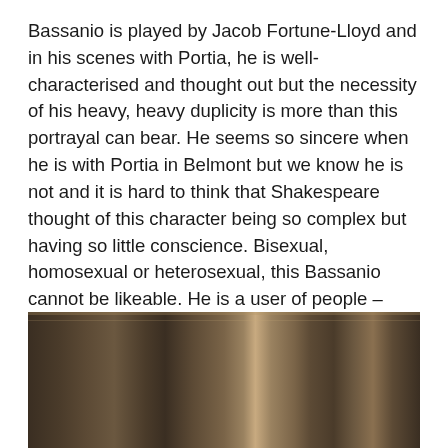Bassanio is played by Jacob Fortune-Lloyd and in his scenes with Portia, he is well-characterised and thought out but the necessity of his heavy, heavy duplicity is more than this portrayal can bear. He seems so sincere when he is with Portia in Belmont but we know he is not and it is hard to think that Shakespeare thought of this character being so complex but having so little conscience. Bisexual, homosexual or heterosexual, this Bassanio cannot be likeable. He is a user of people – there is a sense of this in the script – but this quality is so heavy in him here that he shouldn't be so likeable when he is alone with Portia.
[Figure (photo): A dark, moody theatre or stage photograph showing wooden or textured surfaces in dark brown and amber tones, partially cropped at the bottom of the page.]